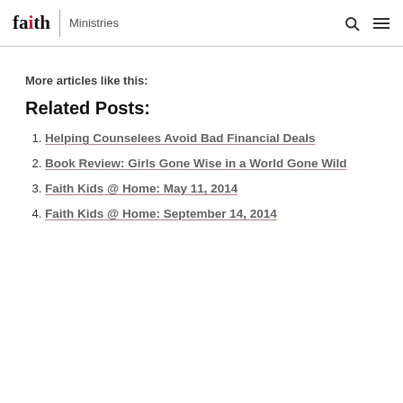faith | Ministries
More articles like this:
Related Posts:
Helping Counselees Avoid Bad Financial Deals
Book Review: Girls Gone Wise in a World Gone Wild
Faith Kids @ Home: May 11, 2014
Faith Kids @ Home: September 14, 2014